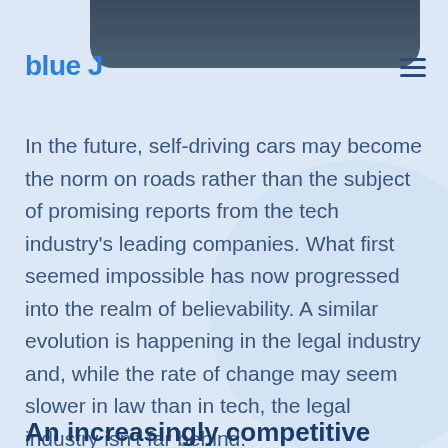[Figure (other): Dark rounded rectangle image at the top of the page, partially visible, showing a dark blue-gray background]
blue J
In the future, self-driving cars may become the norm on roads rather than the subject of promising reports from the tech industry's leading companies. What first seemed impossible has now progressed into the realm of believability. A similar evolution is happening in the legal industry and, while the rate of change may seem slower in law than in tech, the legal industry isn't far behind.
An increasingly competitive